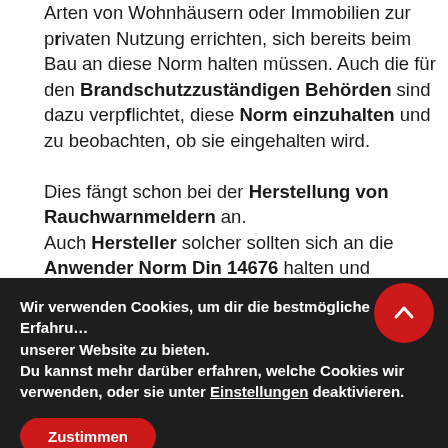Arten von Wohnhäusern oder Immobilien zur privaten Nutzung errichten, sich bereits beim Bau an diese Norm halten müssen. Auch die für den Brandschutzzuständigen Behörden sind dazu verpflichtet, diese Norm einzuhalten und zu beobachten, ob sie eingehalten wird.

Dies fängt schon bei der Herstellung von Rauchwarnmeldern an. Auch Hersteller solcher sollten sich an die Anwender Norm Din 14676 halten und
Wir verwenden Cookies, um dir die bestmögliche Erfahrung unserer Website zu bieten.
Du kannst mehr darüber erfahren, welche Cookies wir verwenden, oder sie unter Einstellungen deaktivieren.
Zustimmen